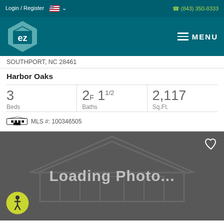Login / Register  (843) 350-8333
[Figure (logo): EZ home logo hexagon and MENU button in teal navigation bar]
SOUTHPORT, NC 28461
Harbor Oaks
| Beds | Baths | Sq.Ft. |
| --- | --- | --- |
| 3 | 2F 11/2 | 2,117 |
MLS #: 100346505
[Figure (photo): Loading Photo... placeholder image with house silhouette watermark, heart icon top right, wheelchair accessibility icon bottom left]